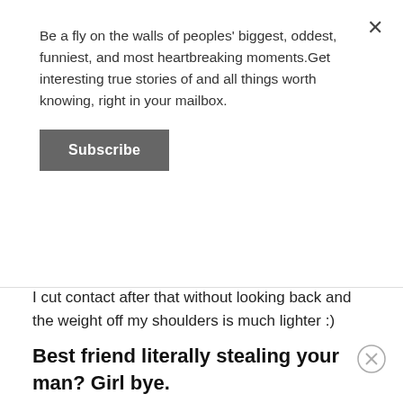Be a fly on the walls of peoples' biggest, oddest, funniest, and most heartbreaking moments.Get interesting true stories of and all things worth knowing, right in your mailbox.
Subscribe
I cut contact after that without looking back and the weight off my shoulders is much lighter :)
Best friend literally stealing your man? Girl bye.
[rebelmouse-image 18351901 is_animated_gif= dam=1 expand=1]
Was best friends with a girl for many years. It was basically a sappy "girls' night" movie type thing. We shared clothes, had sleepovers, got